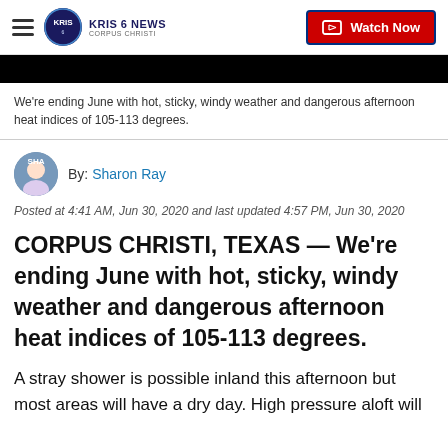KRIS 6 NEWS CORPUS CHRISTI | Watch Now
[Figure (screenshot): Black video thumbnail bar]
We're ending June with hot, sticky, windy weather and dangerous afternoon heat indices of 105-113 degrees.
By: Sharon Ray
Posted at 4:41 AM, Jun 30, 2020 and last updated 4:57 PM, Jun 30, 2020
CORPUS CHRISTI, TEXAS — We're ending June with hot, sticky, windy weather and dangerous afternoon heat indices of 105-113 degrees.
A stray shower is possible inland this afternoon but most areas will have a dry day. High pressure aloft will